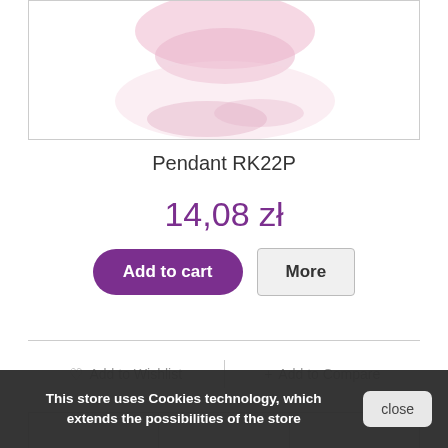[Figure (photo): Product image of Pendant RK22P, partially visible at top of page, showing a pink/rose-colored jewelry piece on white background]
Pendant RK22P
14,08 zł
Add to cart
More
♡ Add to Wishlist
+ Add to Compare
[Figure (photo): Row of product thumbnail images at the bottom, partially visible]
This store uses Cookies technology, which extends the possibilities of the store